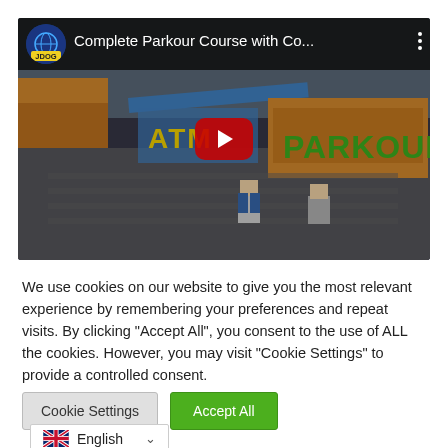[Figure (screenshot): YouTube video embed showing a Minecraft parkour course video titled 'Complete Parkour Course with Co...' by channel JDOG, with a red play button overlay on the thumbnail.]
We use cookies on our website to give you the most relevant experience by remembering your preferences and repeat visits. By clicking "Accept All", you consent to the use of ALL the cookies. However, you may visit "Cookie Settings" to provide a controlled consent.
Cookie Settings | Accept All
English